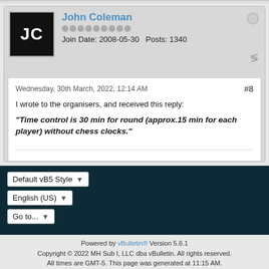John Coleman
Join Date: 2008-05-30   Posts: 1340
Wednesday, 30th March, 2022, 12:14 AM
#8
I wrote to the organisers, and received this reply:
"Time control is 30 min for round (approx.15 min for each player) without chess clocks."
Default vB5 Style
English (US)
Go to...
Powered by vBulletin® Version 5.6.1
Copyright © 2022 MH Sub I, LLC dba vBulletin. All rights reserved.
All times are GMT-5. This page was generated at 11:15 AM.